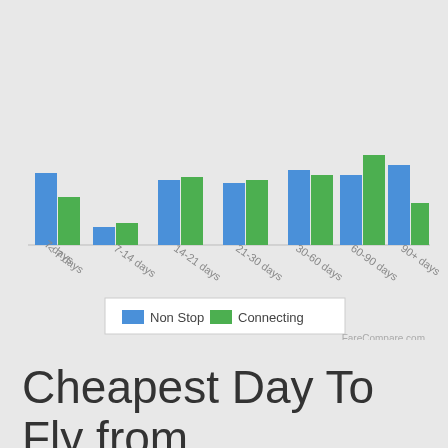[Figure (grouped-bar-chart): Cheapest Day To Fly from Roanoke to Tampa (by advance booking window)]
Cheapest Day To Fly from Roanoke to Tampa